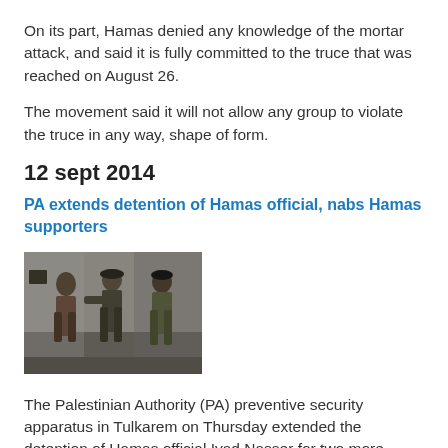On its part, Hamas denied any knowledge of the mortar attack, and said it is fully committed to the truce that was reached on August 26.
The movement said it will not allow any group to violate the truce in any way, shape of form.
12 sept 2014
PA extends detention of Hamas official, nabs Hamas supporters
[Figure (photo): Photo of soldiers or security forces detaining a person, showing military personnel in camouflage uniforms in an urban setting.]
The Palestinian Authority (PA) preventive security apparatus in Tulkarem on Thursday extended the detention of Hamas official Iyad Nasser for two more weeks without providing a legal justification for